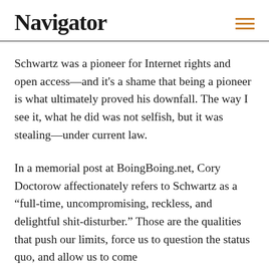Navigator
Schwartz was a pioneer for Internet rights and open access—and it's a shame that being a pioneer is what ultimately proved his downfall. The way I see it, what he did was not selfish, but it was stealing—under current law.
In a memorial post at BoingBoing.net, Cory Doctorow affectionately refers to Schwartz as a “full-time, uncompromising, reckless, and delightful shit-disturber.” Those are the qualities that push our limits, force us to question the status quo, and allow us to come